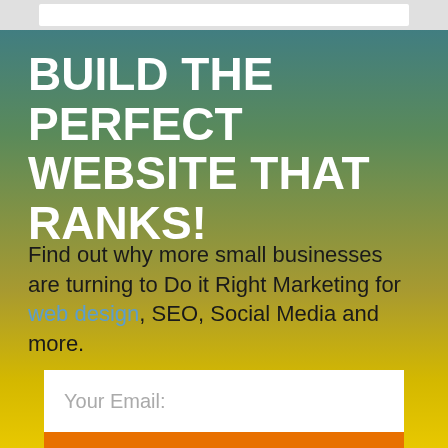BUILD THE PERFECT WEBSITE THAT RANKS!
Find out why more small businesses are turning to Do it Right Marketing for web design, SEO, Social Media and more.
Your Email:
Request Quote